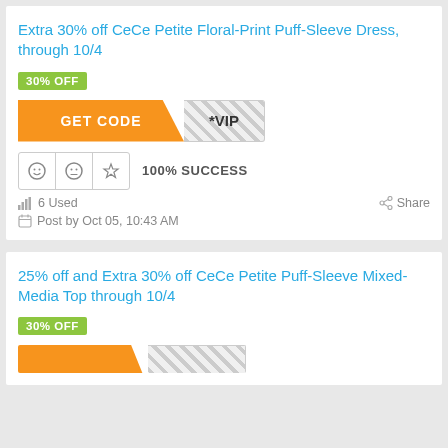Extra 30% off CeCe Petite Floral-Print Puff-Sleeve Dress, through 10/4
30% OFF
[Figure (other): Orange GET CODE button with diagonal cut and hatched VIP code panel]
[Figure (other): Rating icons: smiley, neutral, star, followed by 100% SUCCESS text]
6 Used
Share
Post by Oct 05, 10:43 AM
25% off and Extra 30% off CeCe Petite Puff-Sleeve Mixed-Media Top through 10/4
30% OFF
[Figure (other): Orange GET CODE button partially visible at bottom]